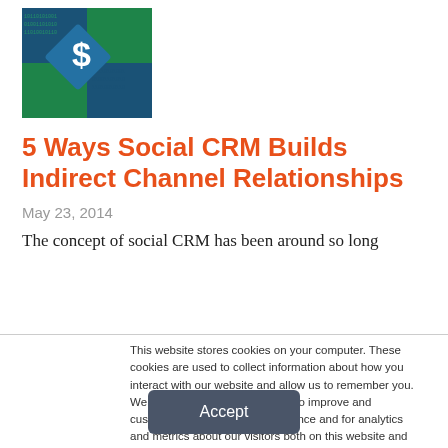[Figure (photo): Dollar sign graphic on blue/green digital background with binary code]
5 Ways Social CRM Builds Indirect Channel Relationships
May 23, 2014
The concept of social CRM has been around so long
This website stores cookies on your computer. These cookies are used to collect information about how you interact with our website and allow us to remember you. We use this information in order to improve and customize your browsing experience and for analytics and metrics about our visitors both on this website and other media. To find out more about the cookies we use, see our Privacy Policy. California residents have the right to direct us not to sell their personal information to third parties by filing an Opt-Out Request: Do Not Sell My Personal Info.
Accept